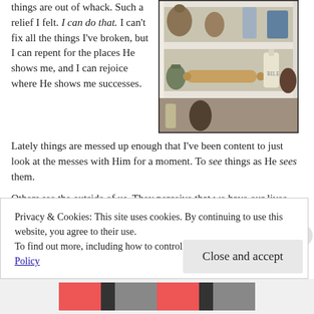things are out of whack. Such a relief I felt. I can do that. I can't fix all the things I've broken, but I can repent for the places He shows me, and I can rejoice where He shows me successes.
[Figure (photo): Photo of wooden shelves with kitchen items including a rolling pin, ceramic jugs, and glass bottles]
Lately things are messed up enough that I've been content to just look at the messes with Him for a moment. To see things as He sees them.
Others see the outside of us. They perceive that we have our lives together, that we are impenetrable. "What could she possibly need?"
Privacy & Cookies: This site uses cookies. By continuing to use this website, you agree to their use.
To find out more, including how to control cookies, see here: Cookie Policy
Close and accept